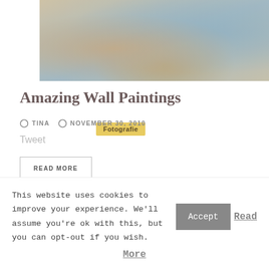[Figure (photo): A faded painting or photograph showing colorful flowers and debris against a blue wall/door background]
Fotografie
Amazing Wall Paintings
TINA   NOVEMBER 30, 2010
Tweet
READ MORE
[Figure (photo): Partial second image visible at the bottom, muted warm tones]
This website uses cookies to improve your experience. We'll assume you're ok with this, but you can opt-out if you wish. Accept Read More